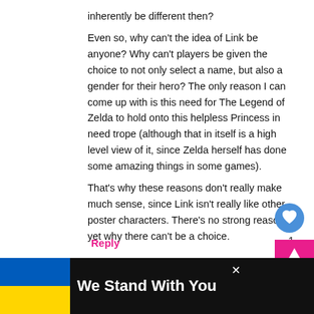inherently be different then?
Even so, why can't the idea of Link be anyone? Why can't players be given the choice to not only select a name, but also a gender for their hero? The only reason I can come up with is this need for The Legend of Zelda to hold onto this helpless Princess in need trope (although that in itself is a high level view of it, since Zelda herself has done some amazing things in some games).
That's why these reasons don't really make much sense, since Link isn't really like other poster characters. There's no strong reason yet why there can't be a choice.
Reply
[Figure (other): Like/heart button (blue circle with heart icon) and count of 1]
[Figure (other): Scroll to top button (pink/magenta background with up arrow)]
[Figure (other): User avatar placeholder (grey circle silhouette)]
Darren Peach
June 27, 2016 at 10:50
[Figure (other): What's Next thumbnail image (Skyrim for the Switch)]
WHAT'S NEXT → Skyrim for the Switch...
[Figure (other): We Stand With You banner with Ukrainian flag colors (blue and yellow) and close button]